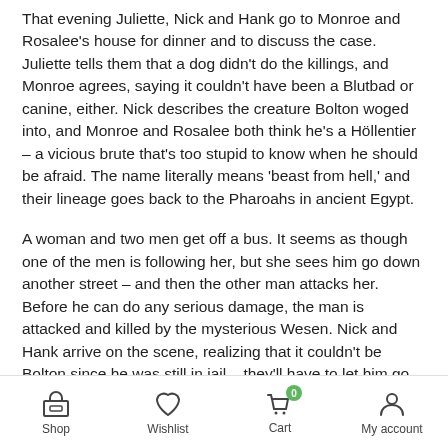That evening Juliette, Nick and Hank go to Monroe and Rosalee's house for dinner and to discuss the case. Juliette tells them that a dog didn't do the killings, and Monroe agrees, saying it couldn't have been a Blutbad or canine, either. Nick describes the creature Bolton woged into, and Monroe and Rosalee both think he's a Höllentier – a vicious brute that's too stupid to know when he should be afraid. The name literally means 'beast from hell,' and their lineage goes back to the Pharoahs in ancient Egypt.
A woman and two men get off a bus. It seems as though one of the men is following her, but she sees him go down another street – and then the other man attacks her. Before he can do any serious damage, the man is attacked and killed by the mysterious Wesen. Nick and Hank arrive on the scene, realizing that it couldn't be Bolton since he was still in jail – they'll have to let him go. They also realize that they've got a vigilante Wesen on their hands. Once again David Florez is already on the scene, so the detectives ask Sgt. Wu to check him out. They talk to the woman who was
Shop   Wishlist   Cart   My account